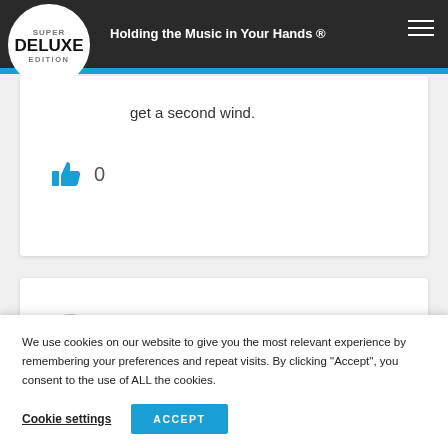Super Deluxe Edition — Holding the Music in Your Hands ®
get a second wind.
[Figure (illustration): Thumbs up / like icon with count 0]
MusicFan
4 YEARS AGO
Al
[Figure (infographic): Never Miss A Release banner in blue with close X button]
We use cookies on our website to give you the most relevant experience by remembering your preferences and repeat visits. By clicking “Accept”, you consent to the use of ALL the cookies.
Cookie settings
ACCEPT